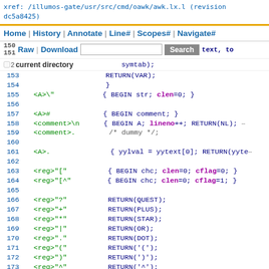xref: /illumos-gate/usr/src/cmd/oawk/awk.lx.l (revision dc5a8425)
Home | History | Annotate | Line# | Scopes# | Navigate#
Raw | Download  [Search]  current directory
Code lines 150-175 of awk.lx.l lexer source file with line numbers and syntax highlighting